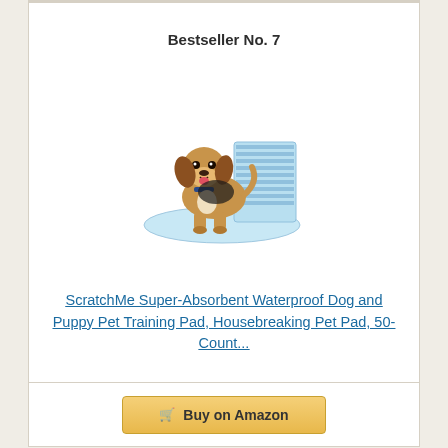Bestseller No. 7
[Figure (photo): A beagle dog sitting on a large light blue training pad, with a stack of additional training pads visible behind it]
ScratchMe Super-Absorbent Waterproof Dog and Puppy Pet Training Pad, Housebreaking Pet Pad, 50-Count...
Buy on Amazon